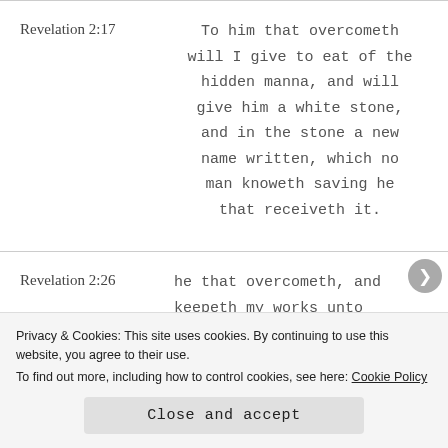Revelation 2:17 — To him that overcometh will I give to eat of the hidden manna, and will give him a white stone, and in the stone a new name written, which no man knoweth saving he that receiveth it.
Revelation 2:26 — he that overcometh, and keepeth my works unto
Privacy & Cookies: This site uses cookies. By continuing to use this website, you agree to their use. To find out more, including how to control cookies, see here: Cookie Policy
Close and accept